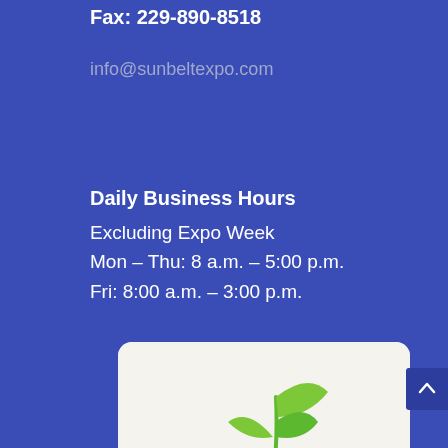Fax: 229-890-8518
info@sunbeltexpo.com
Daily Business Hours
Excluding Expo Week
Mon – Thu: 8 a.m. – 5:00 p.m.
Fri: 8:00 a.m. – 3:00 p.m.
[Figure (logo): Farm Show Council logo — green sprouting seedling above stylized green field/road stripes, with text 'farm show council' in dark brown bold font, on white rounded rectangle card.]